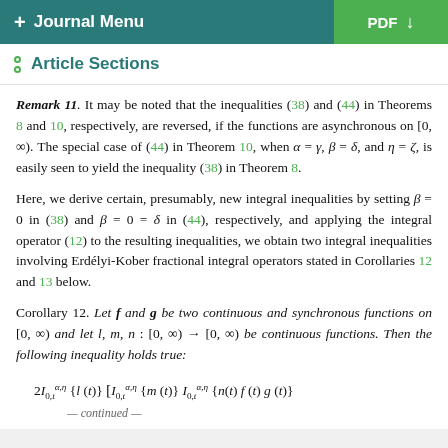+ Journal Menu   PDF ↓
Article Sections
Remark 11. It may be noted that the inequalities (38) and (44) in Theorems 8 and 10, respectively, are reversed, if the functions are asynchronous on [0,∞). The special case of (44) in Theorem 10, when α = γ, β = δ, and η = ζ, is easily seen to yield the inequality (38) in Theorem 8.
Here, we derive certain, presumably, new integral inequalities by setting β = 0 in (38) and β = 0 = δ in (44), respectively, and applying the integral operator (12) to the resulting inequalities, we obtain two integral inequalities involving Erdélyi-Kober fractional integral operators stated in Corollaries 12 and 13 below.
Corollary 12. Let f and g be two continuous and synchronous functions on [0,∞) and let l, m, n : [0,∞) → [0,∞) be continuous functions. Then the following inequality holds true: